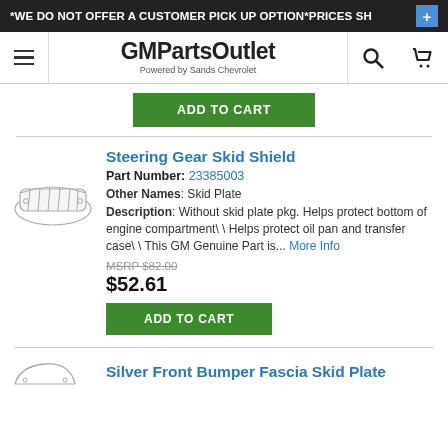*WE DO NOT OFFER A CUSTOMER PICK UP OPTION*PRICES SH
[Figure (logo): GMPartsOutlet logo - Powered by Sands Chevrolet, with hamburger menu, search, and cart icons]
ADD TO CART
Steering Gear Skid Shield
Part Number: 23385003
[Figure (illustration): Line drawing illustration of a Steering Gear Skid Shield / Skid Plate]
Other Names: Skid Plate
Description: Without skid plate pkg. Helps protect bottom of engine compartment\ \ Helps protect oil pan and transfer case\ \ This GM Genuine Part is... More Info
MSRP $82.00
$52.61
ADD TO CART
Silver Front Bumper Fascia Skid Plate